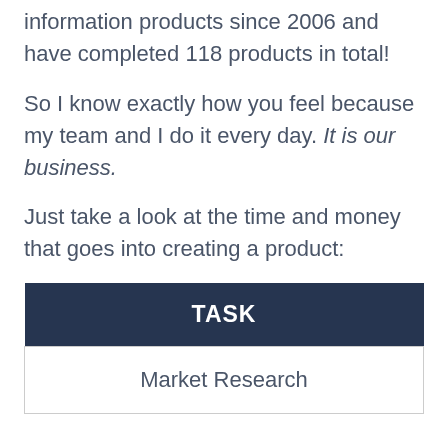information products since 2006 and have completed 118 products in total!
So I know exactly how you feel because my team and I do it every day. It is our business.
Just take a look at the time and money that goes into creating a product:
| TASK |
| --- |
| Market Research |